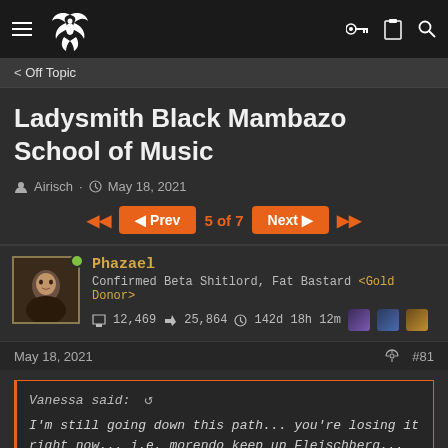Off Topic
Ladysmith Black Mambazo School of Music
Airisch · May 18, 2021
◀◀  ◀ Prev  5 of 7  Next ▶  ▶▶
Phazael
Confirmed Beta Shitlord, Fat Bastard <Gold Donor>
12,469  25,864  142d 18h 12m
May 18, 2021  #81
Vanessa said: ↺

I'm still going down this path... you're losing it right now... i.e. morendo keep up Fleischberg... get more vivace in your humiliation.